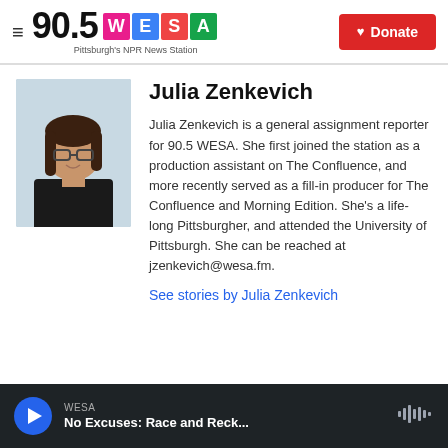90.5 WESA Pittsburgh's NPR News Station | Donate
[Figure (photo): Headshot of Julia Zenkevich, a young woman with brown hair and glasses, wearing a black top, against a light blue/grey background]
Julia Zenkevich
Julia Zenkevich is a general assignment reporter for 90.5 WESA. She first joined the station as a production assistant on The Confluence, and more recently served as a fill-in producer for The Confluence and Morning Edition. She's a life-long Pittsburgher, and attended the University of Pittsburgh. She can be reached at jzenkevich@wesa.fm.
See stories by Julia Zenkevich
WESA | No Excuses: Race and Reck...